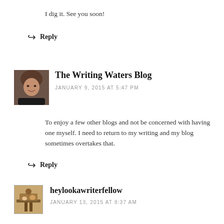I dig it. See you soon!
↩ Reply
The Writing Waters Blog
JANUARY 9, 2015 AT 5:47 PM
To enjoy a few other blogs and not be concerned with having one myself. I need to return to my writing and my blog sometimes overtakes that.
↩ Reply
heylookawriterfellow
JANUARY 13, 2015 AT 8:37 AM